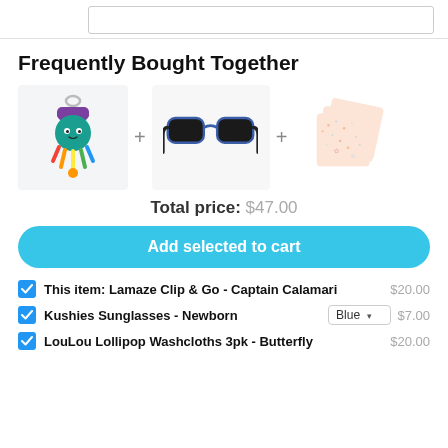Frequently Bought Together
[Figure (illustration): Three product images in a row: a colorful Lamaze octopus clip toy, blue Kushies sunglasses, and LouLou Lollipop patterned washcloths, separated by plus signs]
Total price: $47.00
Add selected to cart
This item: Lamaze Clip & Go - Captain Calamari  $20.00
Kushies Sunglasses - Newborn  Blue  $7.00
LouLou Lollipop Washcloths 3pk - Butterfly  $20.00